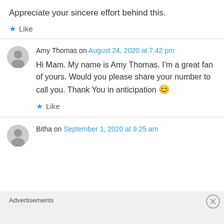Appreciate your sincere effort behind this.
★ Like
Amy Thomas on August 24, 2020 at 7:42 pm
Hi Mam. My name is Amy Thomas. I'm a great fan of yours. Would you please share your number to call you. Thank You in anticipation 😊
★ Like
Bitha on September 1, 2020 at 9:25 am
Advertisements